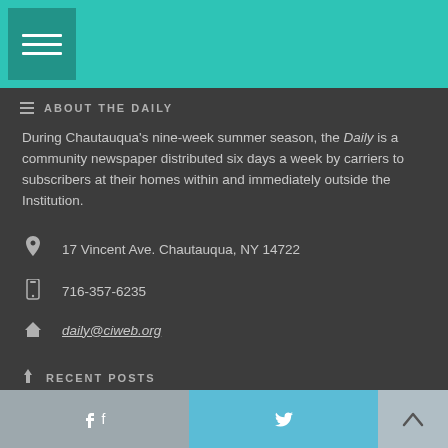ABOUT THE DAILY
During Chautauqua's nine-week summer season, the Daily is a community newspaper distributed six days a week by carriers to subscribers at their homes within and immediately outside the Institution.
17 Vincent Ave. Chautauqua, NY 14722
716-357-6235
daily@ciweb.org
RECENT POSTS
Acclaimed musician Rhiannon Giddens returns to [collaboration]